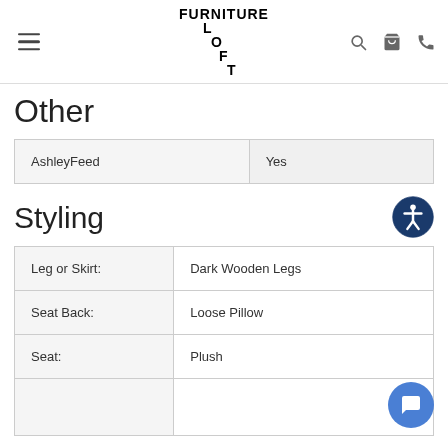Furniture Loft - navigation header with hamburger menu, logo, search, cart, and phone icons
Other
| AshleyFeed | Yes |
Styling
| Leg or Skirt: | Dark Wooden Legs |
| Seat Back: | Loose Pillow |
| Seat: | Plush |